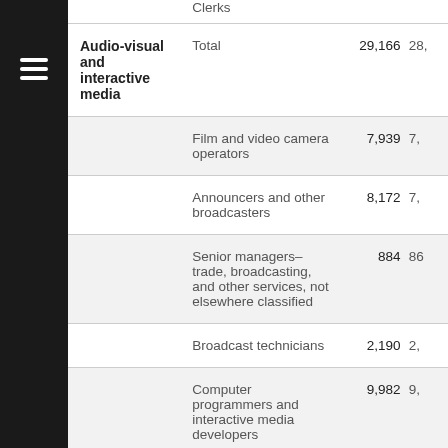| Category | Occupation | Value1 | Value2 |
| --- | --- | --- | --- |
|  | Clerks |  |  |
| Audio-visual and interactive media | Total | 29,166 | 28, |
|  | Film and video camera operators | 7,939 | 7, |
|  | Announcers and other broadcasters | 8,172 | 7, |
|  | Senior managers–trade, broadcasting, and other services, not elsewhere classified | 884 | 86 |
|  | Broadcast technicians | 2,190 | 2, |
|  | Computer programmers and interactive media developers | 9,982 | 9, |